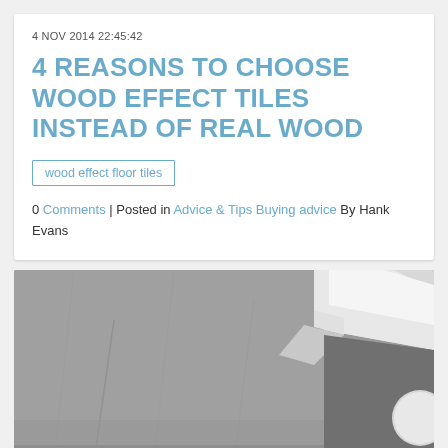4 NOV 2014 22:45:42
4 REASONS TO CHOOSE WOOD EFFECT TILES INSTEAD OF REAL WOOD
wood effect floor tiles
0 Comments | Posted in Advice & Tips Buying advice By Hank Evans
[Figure (photo): Close-up photograph of light grey concrete or tile surfaces meeting at angles, showing geometric intersections with a bright white stripe of light crossing diagonally, and a partially visible circular white element in the lower right corner.]